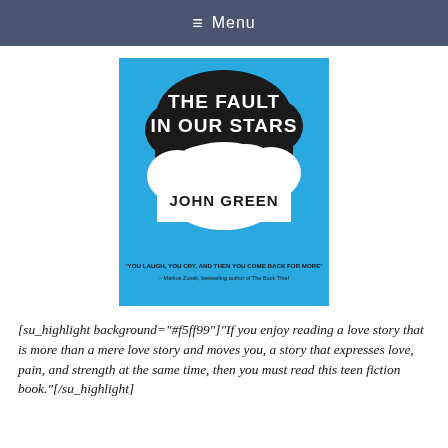≡ Menu
[Figure (illustration): Book cover of 'The Fault in Our Stars' by John Green. Blue background with a black cloud shape at top containing white handwritten text 'THE FAULT IN OUR STARS', and a white cloud shape below with black text 'JOHN GREEN'. Small text at bottom reads 'YOU LAUGH, YOU CRY, AND THEN YOU COME BACK FOR MORE – Markus Zusak, bestselling author of The Book Thief'.]
[su_highlight background="#f5ff99"]"If you enjoy reading a love story that is more than a mere love story and moves you, a story that expresses love, pain, and strength at the same time, then you must read this teen fiction book."[/su_highlight]